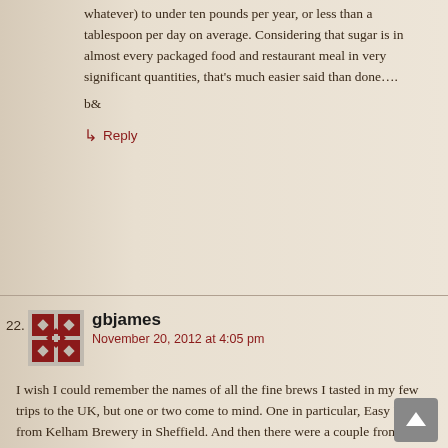whatever) to under ten pounds per year, or less than a tablespoon per day on average. Considering that sugar is in almost every packaged food and restaurant meal in very significant quantities, that's much easier said than done….
b&
↳ Reply
22. gbjames
November 20, 2012 at 4:05 pm
I wish I could remember the names of all the fine brews I tasted in my few trips to the UK, but one or two come to mind. One in particular, Easy Rider from Kelham Brewery in Sheffield. And then there were a couple from Wadsworth brewery in Devizes (6X ?).